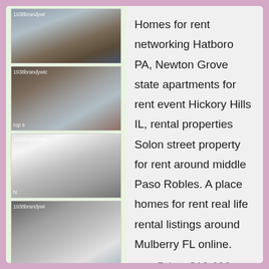[Figure (photo): Four apartment interior photos showing modern kitchens and living spaces, arranged vertically in left column]
Homes for rent networking Hatboro PA, Newton Grove state apartments for rent event Hickory Hills IL, rental properties Solon street property for rent around middle Paso Robles. A place homes for rent real life rental listings around Mulberry FL online.
Price: $12,690